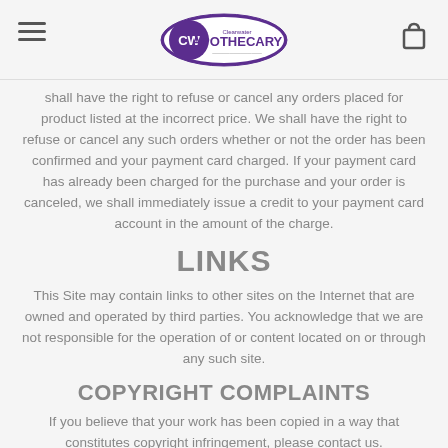Clearwater Apothecary
shall have the right to refuse or cancel any orders placed for product listed at the incorrect price. We shall have the right to refuse or cancel any such orders whether or not the order has been confirmed and your payment card charged. If your payment card has already been charged for the purchase and your order is canceled, we shall immediately issue a credit to your payment card account in the amount of the charge.
LINKS
This Site may contain links to other sites on the Internet that are owned and operated by third parties. You acknowledge that we are not responsible for the operation of or content located on or through any such site.
COPYRIGHT COMPLAINTS
If you believe that your work has been copied in a way that constitutes copyright infringement, please contact us.
APPLICABLE LAW